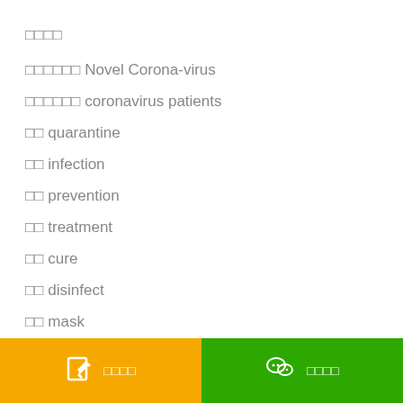□□□□
□□□□□□ Novel Corona-virus
□□□□□□ coronavirus patients
□□ quarantine
□□ infection
□□ prevention
□□ treatment
□□ cure
□□ disinfect
□□ mask
□□□□  □□□□